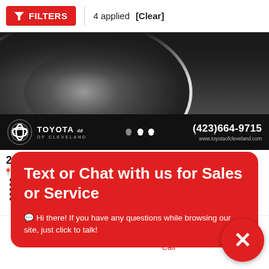[Figure (screenshot): Top filter bar with red FILTERS button, '4 applied [Clear]' text]
[Figure (photo): Toyota of Cleveland dealership car listing photo showing dark vehicle wheel, with dealer branding bar showing (423)664-9715 and www.toyotaofcleveland.com]
2015 Chevrolet Impala Limited LS
[Figure (screenshot): Red chat overlay popup: 'Text or Chat with us for Sales or Service' with message 'Hi there! If you have any questions while browsing our site, just click to talk!']
Drivetrain: FWD
[Figure (screenshot): Bottom navigation bar with red icons and labels: New, Used, Call, Te(xt). Red circular close button with X on the right.]